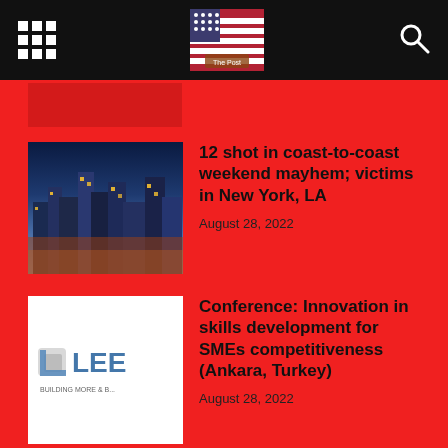[Figure (screenshot): Top navigation bar with grid/menu icon, flag logo, and search icon on black background]
[Figure (photo): City skyline at night thumbnail image]
12 shot in coast-to-coast weekend mayhem; victims in New York, LA
August 28, 2022
[Figure (logo): LEE building company logo on white background]
Conference: Innovation in skills development for SMEs competitiveness (Ankara, Turkey)
August 28, 2022
POPULAR CATEGORY
People 451
News 442
World 363